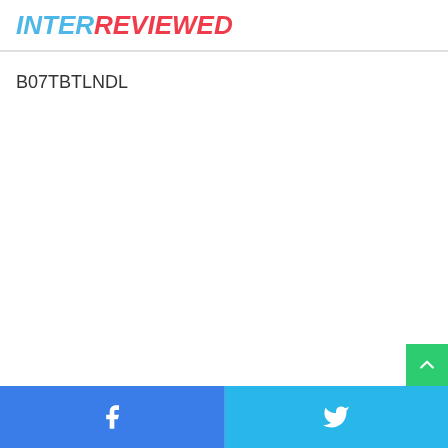INTERREVIEWED
B07TBTLNDL
Facebook | Twitter